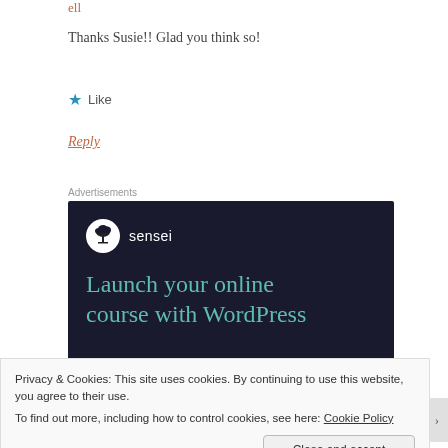Thanks Susie!! Glad you think so!
Like
Reply
Advertisements
[Figure (screenshot): Sensei advertisement banner on dark background. Shows Sensei logo (circle with tree icon) and text: 'Launch your online course with WordPress' in teal/green color.]
Privacy & Cookies: This site uses cookies. By continuing to use this website, you agree to their use. To find out more, including how to control cookies, see here: Cookie Policy
Close and accept